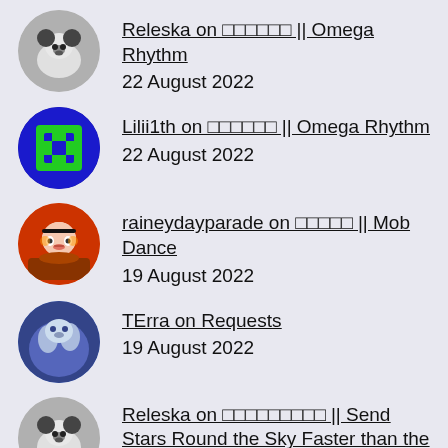Releska on □□□□□□ || Omega Rhythm
22 August 2022
Lilii1th on □□□□□□ || Omega Rhythm
22 August 2022
raineydayparade on □□□□□ || Mob Dance
19 August 2022
TErra on Requests
19 August 2022
Releska on □□□□□□□□□ || Send Stars Round the Sky Faster than the Moon
14 August 2022